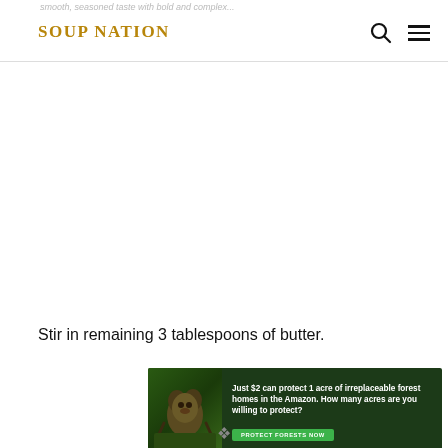SOUP NATION
Stir in remaining 3 tablespoons of butter.
[Figure (photo): Advertisement banner for rainforest conservation featuring a sloth. Text reads: 'Just $2 can protect 1 acre of irreplaceable forest homes in the Amazon. How many acres are you willing to protect?' with a green button 'PROTECT FORESTS NOW']